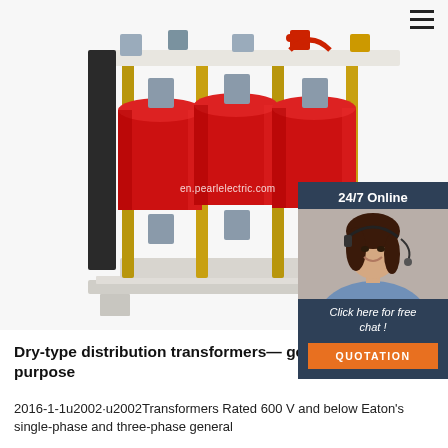[Figure (photo): Three-phase dry-type distribution transformer with red cylindrical windings, mounted on a white metal frame, with copper/gold colored vertical rods, photographed on white background. Watermark text: en.pearlelectric.com]
[Figure (photo): Customer service agent sidebar panel: dark blue background with '24/7 Online' text, photo of smiling woman with headset, 'Click here for free chat!' text, and orange QUOTATION button]
[Figure (infographic): TOP logo/badge in orange dots arranged in triangle above the word TOP in orange letters]
Dry-type distribution transformers— general purpose
2016-1-1u2002·u2002Transformers Rated 600 V and below Eaton's single-phase and three-phase general